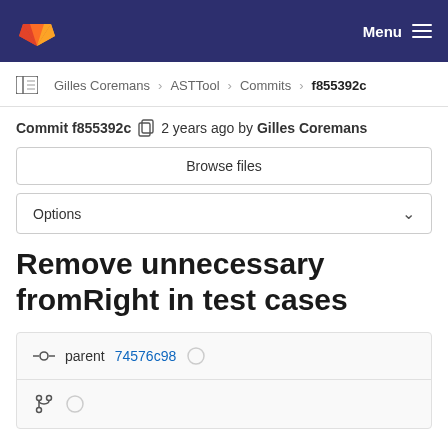GitLab navigation bar with logo and Menu
Gilles Coremans > ASTTool > Commits > f855392c
Commit f855392c  2 years ago by Gilles Coremans
Browse files
Options
Remove unnecessary fromRight in test cases
parent 74576c98